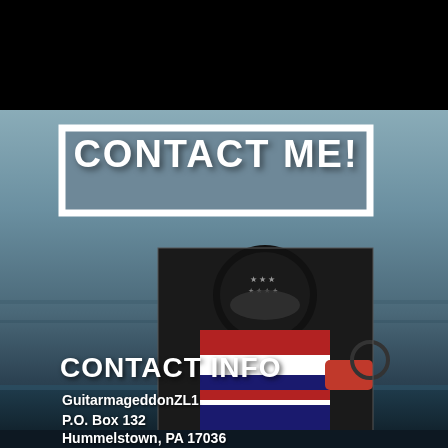[Figure (photo): Black top bar and background photo of a race car driver in a helmet with American flag suit, sitting in a race car on a track. Bottom portion shows a dark blue/teal race car hood.]
CONTACT ME!
CONTACT INFO
GuitarmageddonZL1
P.O. Box 132
Hummelstown, PA 17036